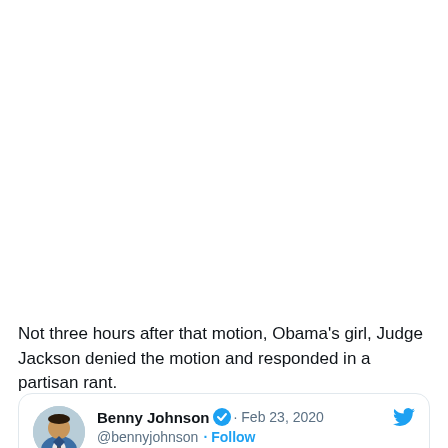Not three hours after that motion, Obama's girl, Judge Jackson denied the motion and responded in a partisan rant.
[Figure (screenshot): Embedded tweet card from Benny Johnson (@bennyjohnson) dated Feb 23, 2020 with a verified blue checkmark and Follow button, beginning with 🚨 BREAKING 🚨. Includes a profile avatar photo of a man in a blue suit.]